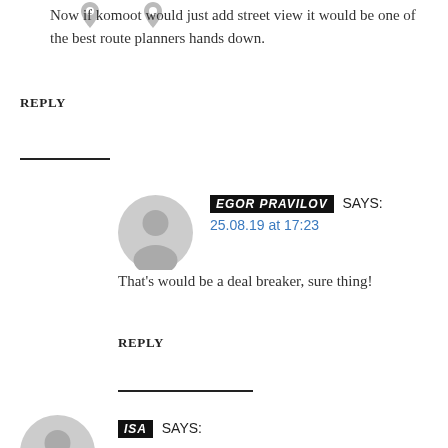Now if komoot would just add street view it would be one of the best route planners hands down.
REPLY
[Figure (illustration): Grey avatar icon for Egor Pravilov comment]
EGOR PRAVILOV SAYS: 25.08.19 at 17:23
That’s would be a deal breaker, sure thing!
REPLY
[Figure (illustration): Grey avatar icon for Isa comment (partially visible)]
ISA SAYS: